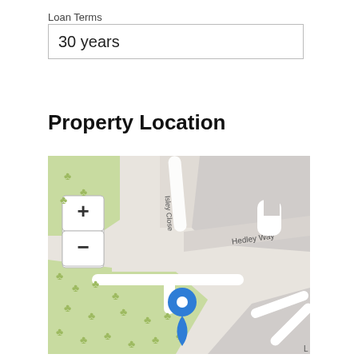Loan Terms
30 years
Property Location
[Figure (map): Street map showing property location on Hedley Way, near Isley Close and Clarke Way, with a blue location pin marker. Map includes zoom in (+) and zoom out (-) controls. Green areas represent parks or open spaces.]